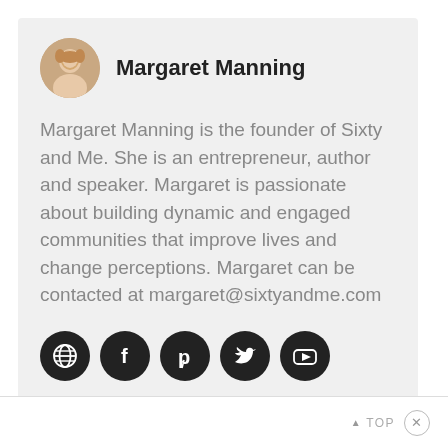Margaret Manning
Margaret Manning is the founder of Sixty and Me. She is an entrepreneur, author and speaker. Margaret is passionate about building dynamic and engaged communities that improve lives and change perceptions. Margaret can be contacted at margaret@sixtyandme.com
[Figure (infographic): Five social media icon buttons in black circles: globe/website, Facebook, Pinterest, Twitter, YouTube]